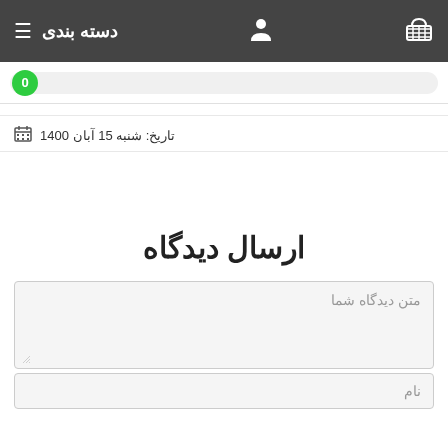دسته بندی
0
تاریخ: شنبه 15 آبان 1400
ارسال دیدگاه
متن دیدگاه شما
نام